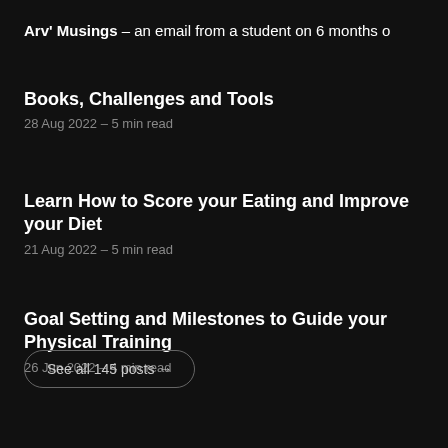Arv' Musings – an email from a student on 6 months o
Books, Challenges and Tools
28 Aug 2022 – 5 min read
Learn How to Score your Eating and Improve your Diet
21 Aug 2022 – 5 min read
Goal Setting and Milestones to Guide your Physical Training
26 Jun 2022 – 4 min read
See all 145 posts →